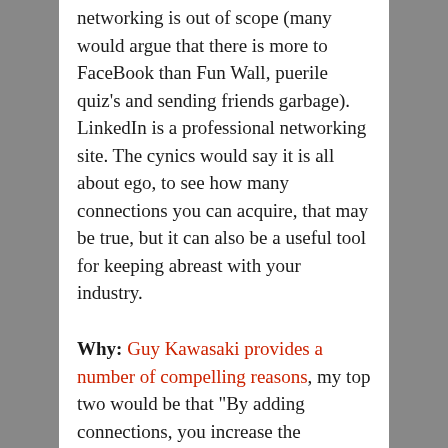networking is out of scope (many would argue that there is more to FaceBook than Fun Wall, puerile quiz's and sending friends garbage). LinkedIn is a professional networking site. The cynics would say it is all about ego, to see how many connections you can acquire, that may be true, but it can also be a useful tool for keeping abreast with your industry.
Why: Guy Kawasaki provides a number of compelling reasons, my top two would be that "By adding connections, you increase the likelihood that people will see your profile first when they're searching for